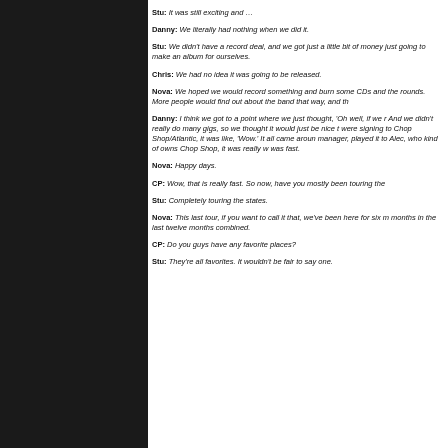Stu: It was still exciting and …
Danny: We literally had nothing when we did it.
Stu: We didn't have a record deal, and we got just a little bit of money just going to make an album for ourselves.
Chris: We had no idea it was going to be released.
Nova: We hoped we would record something and burn some CDs and the rounds. More people would find out about the band that way, and th
Danny: I think we got to a point where we just thought, 'Oh well, if we r And we didn't really do many gigs, so we thought it would just be nice t were signing to Chop Shop/Atlantic, it was like, 'Wow.' It all came aroun manager, played it to Alec, who kind of owns Chop Shop, it was really w was fast.
Nova: Happy days.
CP: Wow, that is really fast. So now, have you mostly been touring the
Stu: Completely touring the states.
Nova: This last tour, if you want to call it that, we've been here for six m months in the last twelve months combined.
CP: Do you guys have any favorite places?
Stu: They're all favorites. It wouldn't be fair to say one.